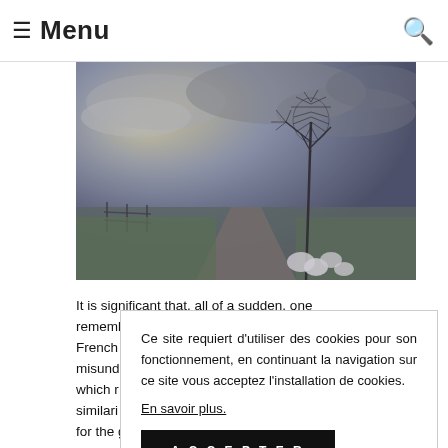☰ Menu
[Figure (photo): Outdoor nature photo showing a bare plant with wispy seed heads in the foreground against a cloudy sky, with a rural path and fencing visible in the background. Purple/blue tinted filter applied.]
It is significant that, all of a sudden, one remembers 2011. Bu French misund which r similari for the glory of the Arab Spring, but rather to
Ce site requiert d'utiliser des cookies pour son fonctionnement, en continuant la navigation sur ce site vous acceptez l'installation de cookies.
En savoir plus.
ACCEPTER